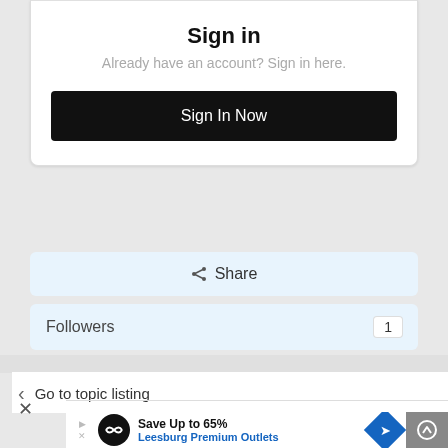Sign in
Already have an account? Sign in here.
Sign In Now
Share
Followers   1
Go to topic listing
[Figure (infographic): Advertisement banner: Save Up to 65% Leesburg Premium Outlets with logo and navigation arrow icons]